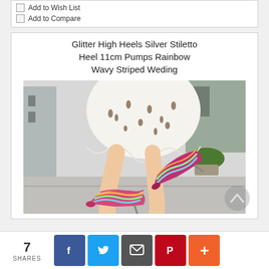Add to Wish List
Add to Compare
Glitter High Heels Silver Stiletto Heel 11cm Pumps Rainbow Wavy Striped Weding
[Figure (photo): Woman wearing multicolor rainbow wavy striped glitter stiletto high heel pumps, shown from knees down, wearing a white floral/bird-print skirt, standing on a sidewalk outdoors.]
7 SHARES
Facebook, Twitter, Message, Pinterest, More share buttons